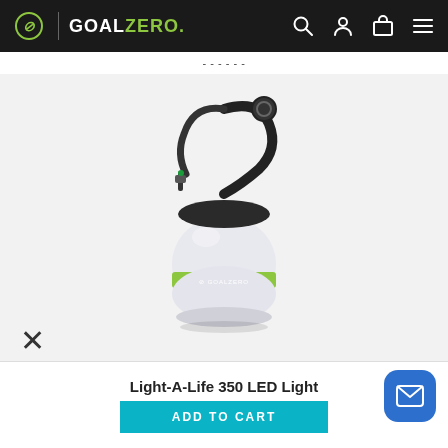GOALZERO. navigation bar with search, account, cart, and menu icons
Price text: partially visible
[Figure (photo): Goal Zero Light-A-Life 350 LED Light product photo showing a compact white rounded lantern with a green metallic band and Goal Zero branding, attached to a black carabiner hook with a DC charging cable, photographed on a white/light grey background.]
×
Light-A-Life 350 LED Light
ADD TO CART
[Figure (other): Blue rounded square button with an envelope/mail icon for chat or email support]